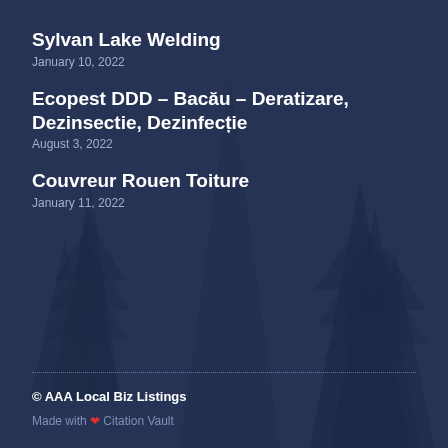Sylvan Lake Welding
January 10, 2022
Ecopest DDD – Bacău – Deratizare, Dezinsectie, Dezinfecție
August 3, 2022
Couvreur Rouen Toiture
January 11, 2022
© AAA Local Biz Listings
Made with ❤ Citation Vault